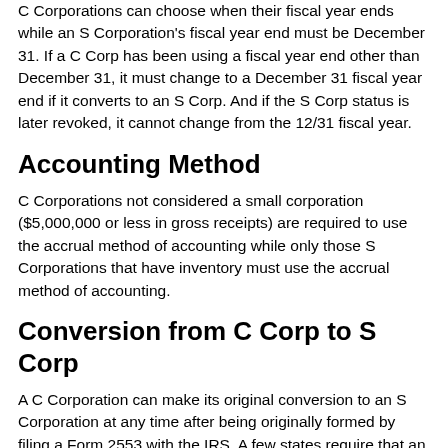C Corporations can choose when their fiscal year ends while an S Corporation's fiscal year end must be December 31. If a C Corp has been using a fiscal year end other than December 31, it must change to a December 31 fiscal year end if it converts to an S Corp. And if the S Corp status is later revoked, it cannot change from the 12/31 fiscal year.
Accounting Method
C Corporations not considered a small corporation ($5,000,000 or less in gross receipts) are required to use the accrual method of accounting while only those S Corporations that have inventory must use the accrual method of accounting.
Conversion from C Corp to S Corp
A C Corporation can make its original conversion to an S Corporation at any time after being originally formed by filing a Form 2553 with the IRS. A few states require that an